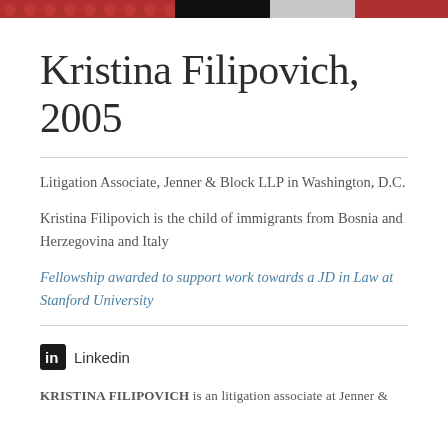[Figure (photo): Top strip showing partial photo of Kristina Filipovich with red floral background]
Kristina Filipovich, 2005
Litigation Associate, Jenner & Block LLP in Washington, D.C.
Kristina Filipovich is the child of immigrants from Bosnia and Herzegovina and Italy
Fellowship awarded to support work towards a JD in Law at Stanford University
Linkedin
KRISTINA FILIPOVICH is an litigation associate at Jenner &